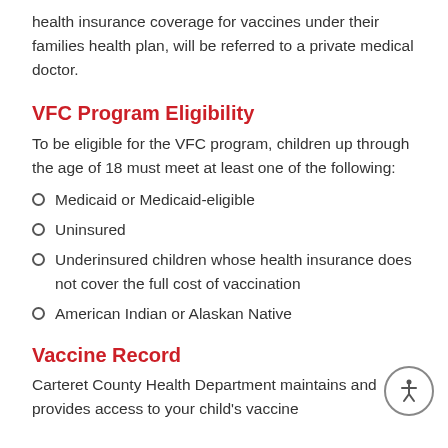health insurance coverage for vaccines under their families health plan, will be referred to a private medical doctor.
VFC Program Eligibility
To be eligible for the VFC program, children up through the age of 18 must meet at least one of the following:
Medicaid or Medicaid-eligible
Uninsured
Underinsured children whose health insurance does not cover the full cost of vaccination
American Indian or Alaskan Native
Vaccine Record
Carteret County Health Department maintains and provides access to your child's vaccine